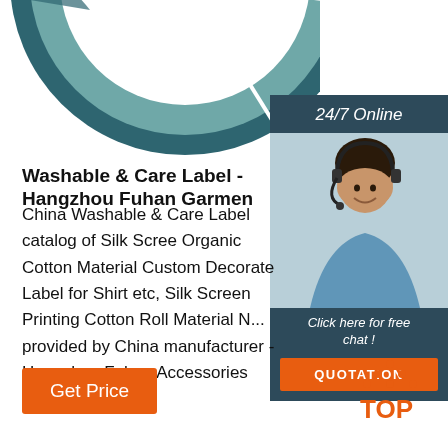[Figure (donut-chart): Partial donut/pie chart visible at top of page, teal/dark teal color segments]
[Figure (photo): Woman wearing headset, customer service representative, smiling. Side panel with 24/7 Online header, Click here for free chat text, and orange QUOTATION button.]
Washable & Care Label - Hangzhou Fuhan Garmen
China Washable & Care Label catalog of Silk Screen Organic Cotton Material Custom Decorate Label for Shirt etc, Silk Screen Printing Cotton Roll Material N... provided by China manufacturer - Hangzhou Fuhan Accessories Co., Ltd., page1.
[Figure (other): Orange Get Price button]
[Figure (other): TOP icon with orange dots and text]